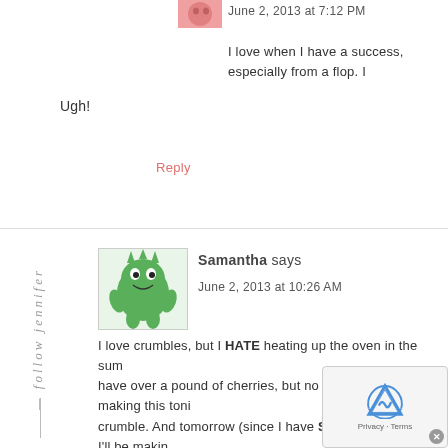June 2, 2013 at 7:12 PM
I love when I have a success, especially from a flop. Ugh!
Reply
Samantha says
June 2, 2013 at 10:26 AM
I love crumbles, but I HATE heating up the oven in the summer. I have over a pound of cherries, but no berries. I'll be making this tonight as a cherry crumble. And tomorrow (since I have SO MANY cherries) I'll be making cherry something for dinner. Keep the cherry and berry recipes coming!!!!!!!
Reply